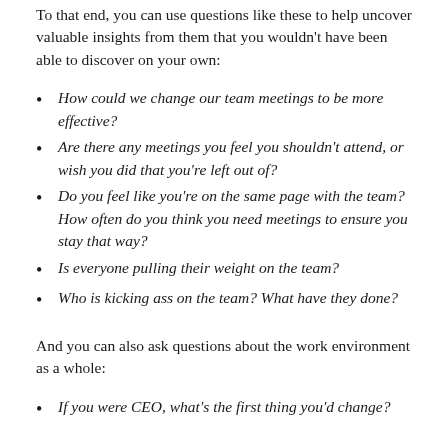To that end, you can use questions like these to help uncover valuable insights from them that you wouldn't have been able to discover on your own:
How could we change our team meetings to be more effective?
Are there any meetings you feel you shouldn't attend, or wish you did that you're left out of?
Do you feel like you're on the same page with the team? How often do you think you need meetings to ensure you stay that way?
Is everyone pulling their weight on the team?
Who is kicking ass on the team? What have they done?
And you can also ask questions about the work environment as a whole:
If you were CEO, what's the first thing you'd change?